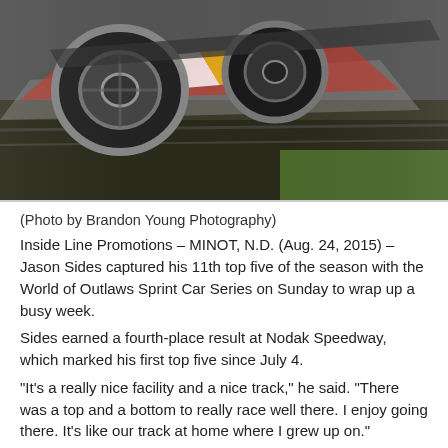[Figure (photo): Action photo of a sprint car race car on a dirt track, showing wheels and car body in motion blur]
(Photo by Brandon Young Photography)
Inside Line Promotions – MINOT, N.D. (Aug. 24, 2015) – Jason Sides captured his 11th top five of the season with the World of Outlaws Sprint Car Series on Sunday to wrap up a busy week.
Sides earned a fourth-place result at Nodak Speedway, which marked his first top five since July 4.
“It’s a really nice facility and a nice track,” he said. “There was a top and a bottom to really race well there. I enjoy going there. It’s like our track at home where I grew up on.”
That comfort level showed up from the start of the night as Sides qualified 10th quickest, which started him on the pole of a heat race.
“Just getting yourself in the position to be on the front row to give yourself the opportunity to win the heat race and